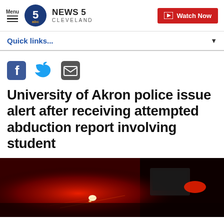Menu | NEWS 5 CLEVELAND | Watch Now
Quick links...
[Figure (other): Social media share icons: Facebook (f), Twitter (bird), Email (envelope)]
University of Akron police issue alert after receiving attempted abduction report involving student
[Figure (photo): Night scene photo showing police vehicle with red and white emergency lights flashing, dark urban background]